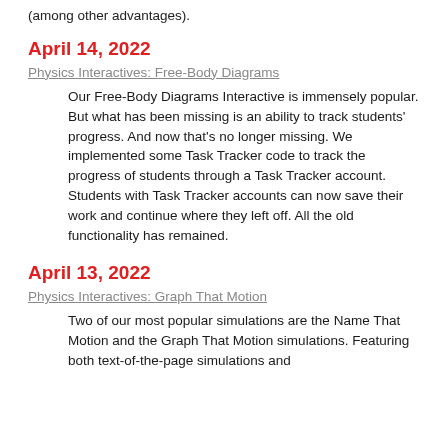(among other advantages).
April 14, 2022
Physics Interactives:  Free-Body Diagrams
Our Free-Body Diagrams Interactive is immensely popular. But what has been missing is an ability to track students' progress.  And now that's no longer missing. We implemented some Task Tracker code to track the progress of students through a Task Tracker account. Students with Task Tracker accounts can now save their work and continue where they left off. All the old functionality has remained.
April 13, 2022
Physics Interactives:  Graph That Motion
Two of our most popular simulations are the Name That Motion and the Graph That Motion simulations. Featuring both text-of-the-page simulations and ...